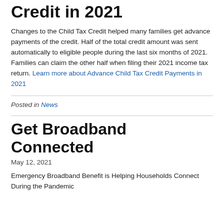Credit in 2021
Changes to the Child Tax Credit helped many families get advance payments of the credit. Half of the total credit amount was sent automatically to eligible people during the last six months of 2021. Families can claim the other half when filing their 2021 income tax return. Learn more about Advance Child Tax Credit Payments in 2021
Posted in News
Get Broadband Connected
May 12, 2021
Emergency Broadband Benefit is Helping Households Connect During the Pandemic